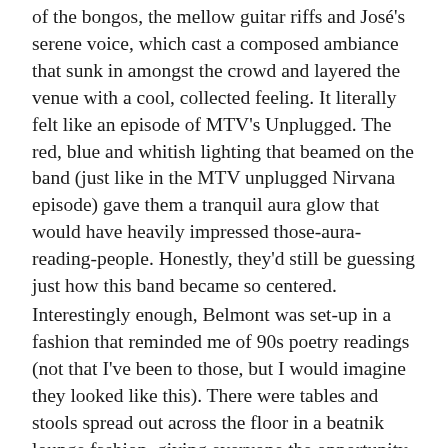of the bongos, the mellow guitar riffs and José's serene voice, which cast a composed ambiance that sunk in amongst the crowd and layered the venue with a cool, collected feeling. It literally felt like an episode of MTV's Unplugged. The red, blue and whitish lighting that beamed on the band (just like in the MTV unplugged Nirvana episode) gave them a tranquil aura glow that would have heavily impressed those-aura-reading-people. Honestly, they'd still be guessing just how this band became so centered.
Interestingly enough, Belmont was set-up in a fashion that reminded me of 90s poetry readings (not that I've been to those, but I would imagine they looked like this). There were tables and stools spread out across the floor in a beatnik lounge fashion, giving everyone the opportunity to sit and enjoy Junip as opposed to standing around like HedgeStone. It was a nice change from my usual dancing, clapping and roaming around.